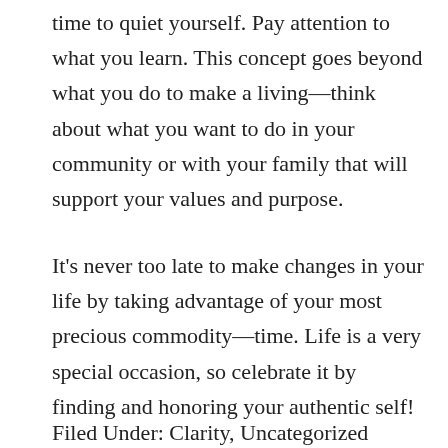time to quiet yourself. Pay attention to what you learn. This concept goes beyond what you do to make a living—think about what you want to do in your community or with your family that will support your values and purpose.
It's never too late to make changes in your life by taking advantage of your most precious commodity—time. Life is a very special occasion, so celebrate it by finding and honoring your authentic self!
Filed Under: Clarity, Uncategorized